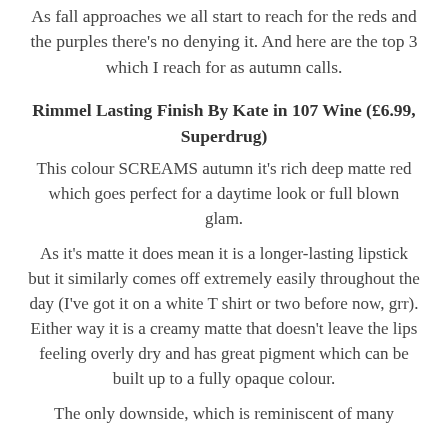As fall approaches we all start to reach for the reds and the purples there's no denying it. And here are the top 3 which I reach for as autumn calls.
Rimmel Lasting Finish By Kate in 107 Wine (£6.99, Superdrug)
This colour SCREAMS autumn it's rich deep matte red which goes perfect for a daytime look or full blown glam.
As it's matte it does mean it is a longer-lasting lipstick but it similarly comes off extremely easily throughout the day (I've got it on a white T shirt or two before now, grr). Either way it is a creamy matte that doesn't leave the lips feeling overly dry and has great pigment which can be built up to a fully opaque colour.
The only downside, which is reminiscent of many